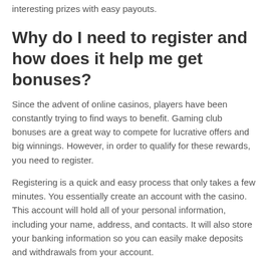interesting prizes with easy payouts.
Why do I need to register and how does it help me get bonuses?
Since the advent of online casinos, players have been constantly trying to find ways to benefit. Gaming club bonuses are a great way to compete for lucrative offers and big winnings. However, in order to qualify for these rewards, you need to register.
Registering is a quick and easy process that only takes a few minutes. You essentially create an account with the casino. This account will hold all of your personal information, including your name, address, and contacts. It will also store your banking information so you can easily make deposits and withdrawals from your account.
When you register with the casino, you also agree to its terms and conditions. These terms and conditions outline the rules you must follow in order to use your account. They also list the bonuses you are entitled to, as well as the wagering requirements you must meet in order to withdraw any winnings.